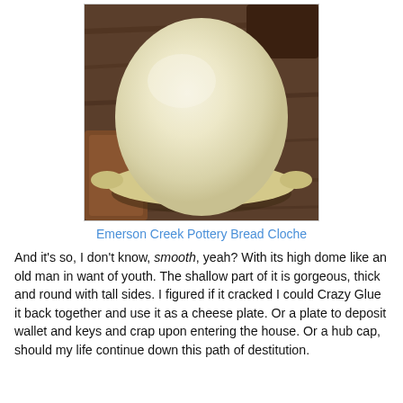[Figure (photo): A cream/ivory colored ceramic bread cloche viewed from above, sitting on a dark wooden surface. The cloche has a smooth high dome shape with small handles on the sides.]
Emerson Creek Pottery Bread Cloche
And it's so, I don't know, smooth, yeah? With its high dome like an old man in want of youth. The shallow part of it is gorgeous, thick and round with tall sides. I figured if it cracked I could Crazy Glue it back together and use it as a cheese plate. Or a plate to deposit wallet and keys and crap upon entering the house. Or a hub cap, should my life continue down this path of destitution.